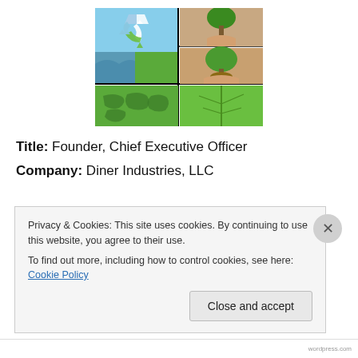[Figure (illustration): A 2x2 photo collage with environmental/sustainability theme: top-left shows a recycling symbol made of sky/water/leaf imagery; top-right shows hands holding a tree with roots; bottom-left shows a green world map; bottom-right shows a large green leaf closeup.]
Title: Founder, Chief Executive Officer
Company: Diner Industries, LLC
Privacy & Cookies: This site uses cookies. By continuing to use this website, you agree to their use.
To find out more, including how to control cookies, see here: Cookie Policy